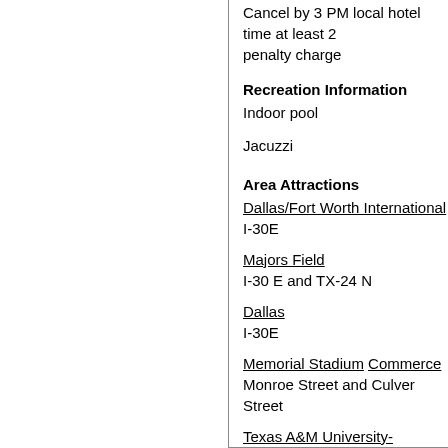Cancel by 3 PM local hotel time at least 2 penalty charge
Recreation Information
Indoor pool
Jacuzzi
Area Attractions
Dallas/Fort Worth International
I-30E
Majors Field
I-30 E and TX-24 N
Dallas
I-30E
Memorial Stadium Commerce
Monroe Street and Culver Street
Texas A&M University-Commerce
318 feet North
Cooper Lake Texas Children's Museum